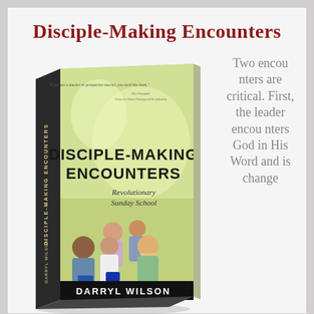Disciple-Making Encounters
[Figure (photo): Book cover of 'Disciple-Making Encounters: Revolutionary Sunday School' by Darryl Wilson, showing a group of people sitting in a circle studying the Bible together. The cover has a light green/yellow background. The spine reads 'DISCIPLE-MAKING ENCOUNTERS' and 'DARRYL WILSON'. A quote on the cover reads: 'If you are a teacher or prospective teacher, you need this book.' - Ken Hemphill, Center for Church Planting and Revitalization.]
Two encounters are critical. First, the leader encounters God in His Word and is change